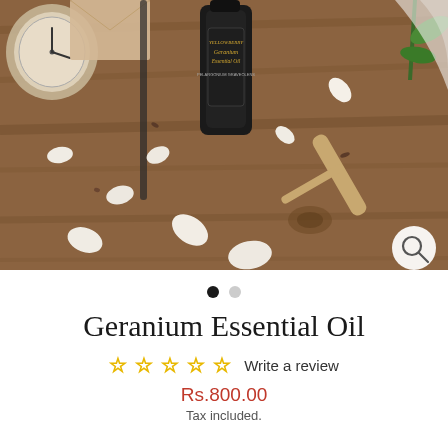[Figure (photo): Product photo showing a dark bottle of Yellowberry Geranium Essential Oil on a wooden surface surrounded by flower petals, a rolled paper scroll, clock, and greenery. A magnify/search icon button is in the bottom right corner.]
• • (carousel dots, first active)
Geranium Essential Oil
☆☆☆☆☆ Write a review
Rs.800.00
Tax included.